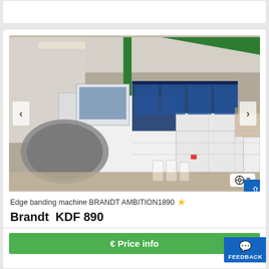[Figure (photo): Industrial edge banding machine (Brandt KDF 890 / Ambition 1890) in a factory/warehouse setting. Large white and blue machine stretching across the room with a circular feeder table on the left. Green steel roof structure visible. Navigation arrows on sides, image count badge showing 3.]
Edge banding machine BRANDT AMBITION1890
Brandt  KDF 890
€ Price info